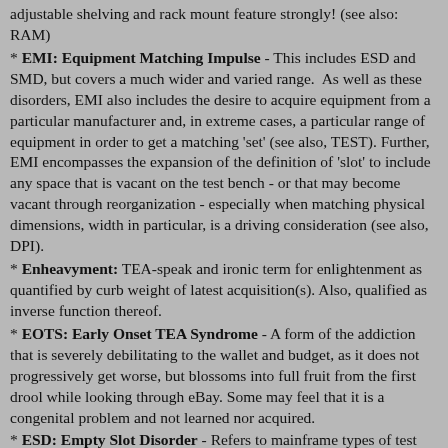adjustable shelving and rack mount feature strongly! (see also: RAM)
* EMI: Equipment Matching Impulse - This includes ESD and SMD, but covers a much wider and varied range.  As well as these disorders, EMI also includes the desire to acquire equipment from a particular manufacturer and, in extreme cases, a particular range of equipment in order to get a matching 'set' (see also, TEST). Further, EMI encompasses the expansion of the definition of 'slot' to include any space that is vacant on the test bench - or that may become vacant through reorganization - especially when matching physical dimensions, width in particular, is a driving consideration (see also, DPI).
* Enheavyment: TEA-speak and ironic term for enlightenment as quantified by curb weight of latest acquisition(s). Also, qualified as inverse function thereof.
* EOTS: Early Onset TEA Syndrome - A form of the addiction that is severely debilitating to the wallet and budget, as it does not progressively get worse, but blossoms into full fruit from the first drool while looking through eBay. Some may feel that it is a congenital problem and not learned nor acquired.
* ESD: Empty Slot Disorder - Refers to mainframe types of test equipment that have slots for functional modules or cards. Any empty slot must be filled by acquiring modules or cards, which leads to ESI.
* ESI: eBay Search Inspiration or eBay Search Infection - Often